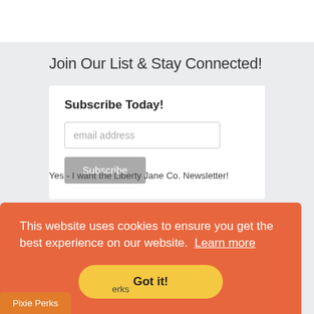Join Our List & Stay Connected!
Subscribe Today!
email address
Subscribe
Yes - I want the Liberty Jane Co. Newsletter!
This website uses cookies to ensure you get the best experience on our website.  Learn more
Got it!
Pixie Perks
erks